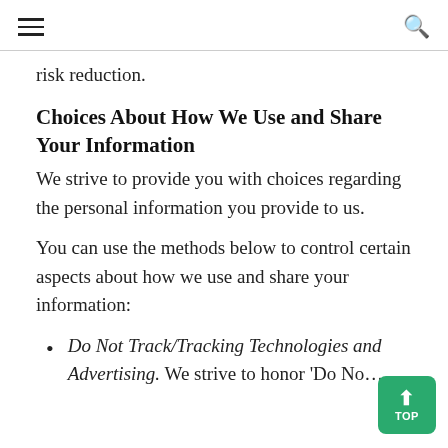≡  🔍
risk reduction.
Choices About How We Use and Share Your Information
We strive to provide you with choices regarding the personal information you provide to us.
You can use the methods below to control certain aspects about how we use and share your information:
Do Not Track/Tracking Technologies and Advertising. We strive to honor 'Do No…